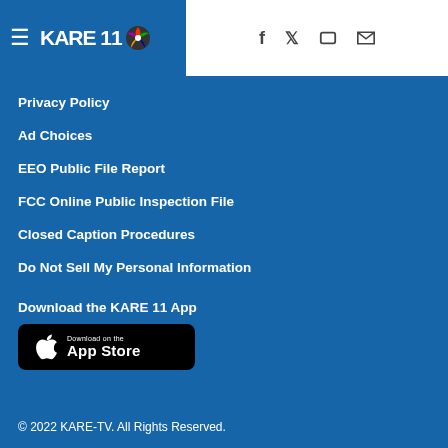KARE 11 - Navigation header with social icons
Privacy Policy
Ad Choices
EEO Public File Report
FCC Online Public Inspection File
Closed Caption Procedures
Do Not Sell My Personal Information
Download the KARE 11 App
[Figure (other): Download on the App Store button]
© 2022 KARE-TV. All Rights Reserved.